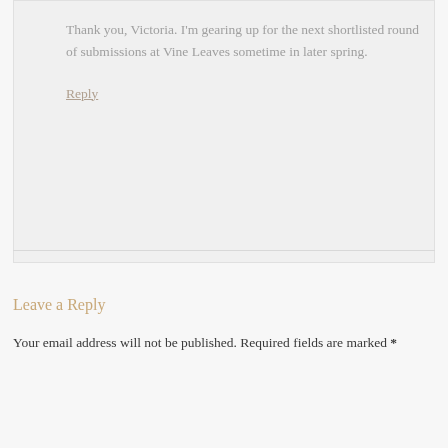Thank you, Victoria. I'm gearing up for the next shortlisted round of submissions at Vine Leaves sometime in later spring.
Reply
Leave a Reply
Your email address will not be published. Required fields are marked *